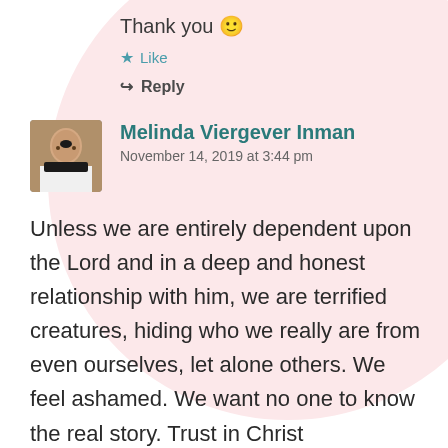Thank you 🙂
★ Like
↪ Reply
Melinda Viergever Inman
November 14, 2019 at 3:44 pm
Unless we are entirely dependent upon the Lord and in a deep and honest relationship with him, we are terrified creatures, hiding who we really are from even ourselves, let alone others. We feel ashamed. We want no one to know the real story. Trust in Christ